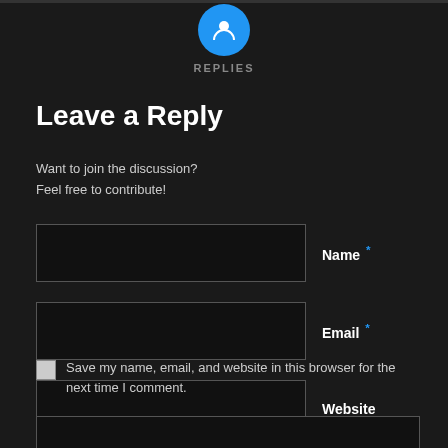[Figure (other): Blue circle icon with a person/reply symbol at the top, above the REPLIES label]
REPLIES
Leave a Reply
Want to join the discussion?
Feel free to contribute!
Name *
Email *
Website
Save my name, email, and website in this browser for the next time I comment.